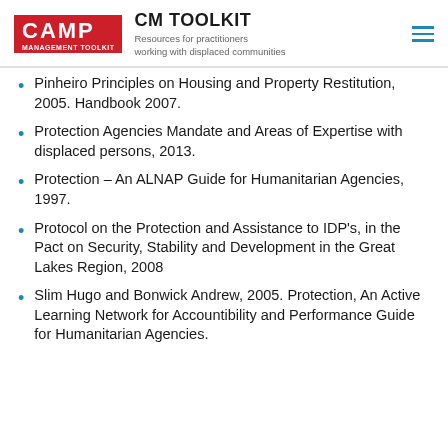CM TOOLKIT — Resources for practitioners working with displaced communities
Pinheiro Principles on Housing and Property Restitution, 2005. Handbook 2007.
Protection Agencies Mandate and Areas of Expertise with displaced persons, 2013.
Protection – An ALNAP Guide for Humanitarian Agencies, 1997.
Protocol on the Protection and Assistance to IDP's, in the Pact on Security, Stability and Development in the Great Lakes Region, 2008
Slim Hugo and Bonwick Andrew, 2005. Protection, An Active Learning Network for Accountibility and Performance Guide for Humanitarian Agencies.